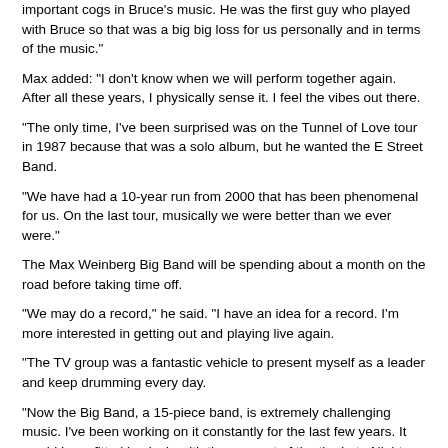important cogs in Bruce's music. He was the first guy who played with Bruce so that was a big big loss for us personally and in terms of the music."
Max added: "I don't know when we will perform together again. After all these years, I physically sense it. I feel the vibes out there.
"The only time, I've been surprised was on the Tunnel of Love tour in 1987 because that was a solo album, but he wanted the E Street Band.
"We have had a 10-year run from 2000 that has been phenomenal for us. On the last tour, musically we were better than we ever were."
The Max Weinberg Big Band will be spending about a month on the road before taking time off.
"We may do a record," he said. "I have an idea for a record. I'm more interested in getting out and playing live again.
"The TV group was a fantastic vehicle to present myself as a leader and keep drumming every day.
"Now the Big Band, a 15-piece band, is extremely challenging music. I've been working on it constantly for the last few years. It would have fitted in nicely with the concept of the the Late Night show."
But there is one place where Max has never performed - or visited - Israel.
"My great grandfather is buried on the Mount of Olives. My mother, who celebrates her 95th birthday in two months, has a very big family. My heritage is Russian. She's had the privilege of making many pilgrimages to Israel.